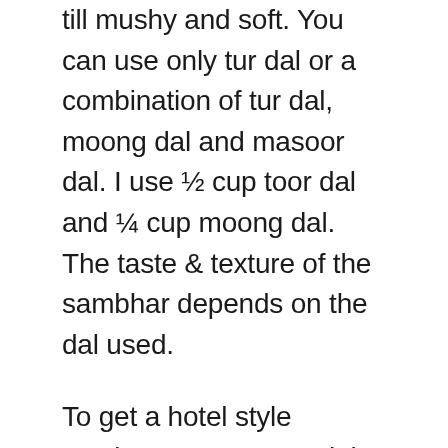till mushy and soft. You can use only tur dal or a combination of tur dal, moong dal and masoor dal. I use ½ cup toor dal and ¼ cup moong dal. The taste & texture of the sambhar depends on the dal used.
To get a hotel style sambar, use masoor dal and tur dal in equal quantities. If cooking dal in pressure cooker, let it whistle for 2 to 4 whistles on a medium flame. To cook in a Instant pot, pressure cook for 9 mins. If you do not have a cooker, then cook in a pot adding more water as needed.